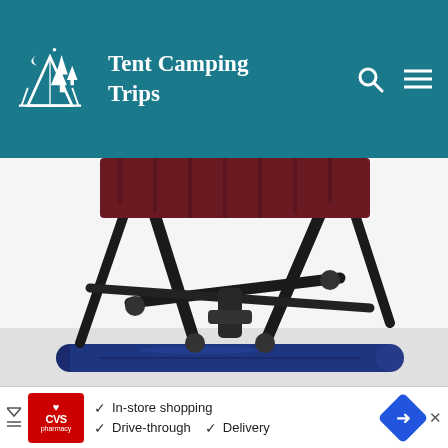Tent Camping Trips
[Figure (photo): Close-up photo of a folding camping chair's black metal frame legs crossed at the bottom, with a dark red/maroon fabric seat visible at the top, and a navy blue cylindrical carrying bag lying on the ground in front.]
Ease of use (10%) – 8/10
Comfort (25%) – 8/10
Weight & portability (25%) – 7/10
[Figure (screenshot): CVS pharmacy advertisement banner showing: In-store shopping, Drive-through, Delivery options with checkmarks, and a blue navigation/directions icon.]